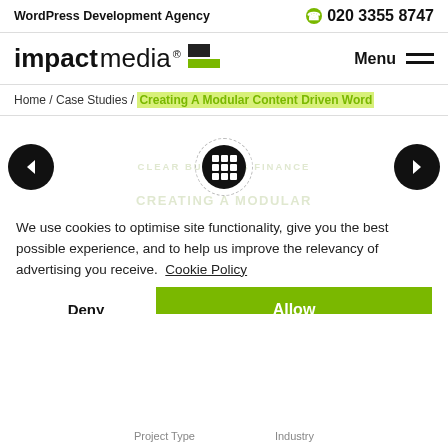WordPress Development Agency / 020 3355 8747
[Figure (logo): impactmedia logo with green and dark squares, Menu hamburger icon]
Home / Case Studies / Creating A Modular Content Driven Word
[Figure (other): Navigation arrows (left, center grid icon, right) with watermark text: CLEAR BUSINESS FINANCE / CREATING A MODULAR CONTENT DRIVEN WORDPRESS WEBSITE FOR CLEAR BUSINESS FINANCE]
We use cookies to optimise site functionality, give you the best possible experience, and to help us improve the relevancy of advertising you receive. Cookie Policy
Deny
Allow
Project Type   Industry